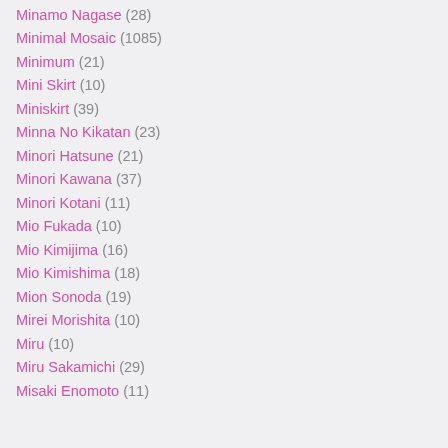Minamo Nagase (28)
Minimal Mosaic (1085)
Minimum (21)
Mini Skirt (10)
Miniskirt (39)
Minna No Kikatan (23)
Minori Hatsune (21)
Minori Kawana (37)
Minori Kotani (11)
Mio Fukada (10)
Mio Kimijima (16)
Mio Kimishima (18)
Mion Sonoda (19)
Mirei Morishita (10)
Miru (10)
Miru Sakamichi (29)
Misaki Enomoto (11)